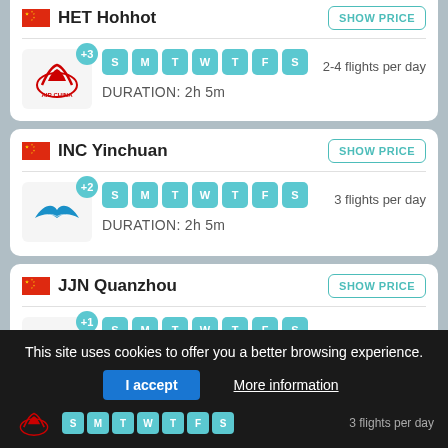HET Hohhot
SHOW PRICE
2-4 flights per day
DURATION: 2h 5m
INC Yinchuan
SHOW PRICE
3 flights per day
DURATION: 2h 5m
JJN Quanzhou
SHOW PRICE
3 flights per day
DURATION: 1h 40m
This site uses cookies to offer you a better browsing experience.
I accept
More information
3 flights per day